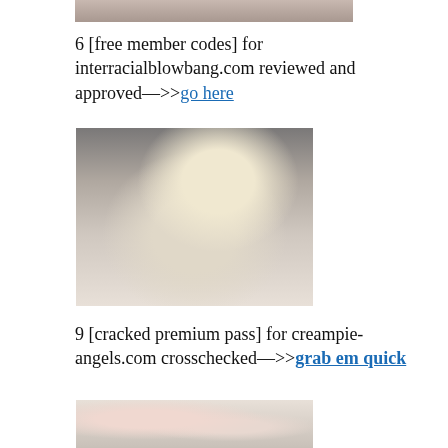[Figure (photo): Partial top image showing people, cropped]
6 [free member codes] for interracialblowbang.com reviewed and approved—>>go here
[Figure (photo): Blonde woman in panda t-shirt sitting]
9 [cracked premium pass] for creampie-angels.com crosschecked—>>grab em quick
[Figure (photo): Woman with dark hair tied up, partially visible bottom image]